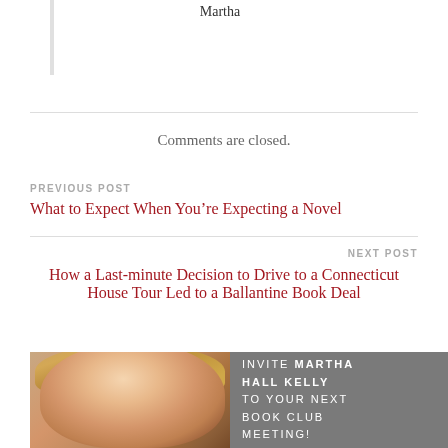Martha
Comments are closed.
PREVIOUS POST
What to Expect When You’re Expecting a Novel
NEXT POST
How a Last-minute Decision to Drive to a Connecticut House Tour Led to a Ballantine Book Deal
[Figure (photo): Portrait photo of Martha Hall Kelly with gray background overlay reading INVITE MARTHA HALL KELLY TO YOUR NEXT BOOK CLUB MEETING!]